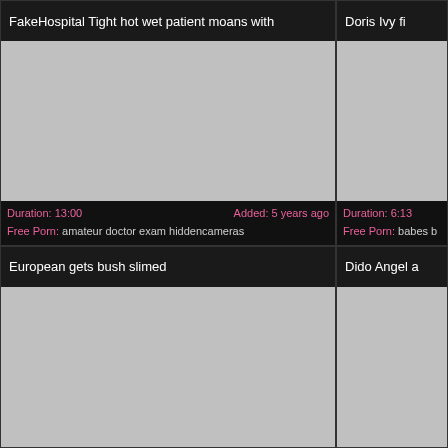FakeHospital Tight hot wet patient moans with
[Figure (photo): Gray placeholder thumbnail for video]
Duration: 13:00  Added: 5 years ago
Free Porn: amateur doctor exam hiddencameras
Doris Ivy fi...
[Figure (photo): Gray placeholder thumbnail for video]
Duration: 6:13
Free Porn: babes b...
European gets bush slimed
[Figure (photo): Gray placeholder thumbnail for video]
Dido Angel a...
[Figure (photo): Gray placeholder thumbnail for video]